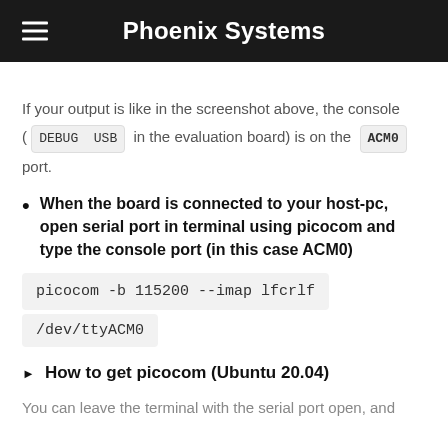Phoenix Systems
If your output is like in the screenshot above, the console ( DEBUG USB in the evaluation board) is on the ACM0 port.
When the board is connected to your host-pc, open serial port in terminal using picocom and type the console port (in this case ACM0)
How to get picocom (Ubuntu 20.04)
You can leave the terminal with the serial port open, and